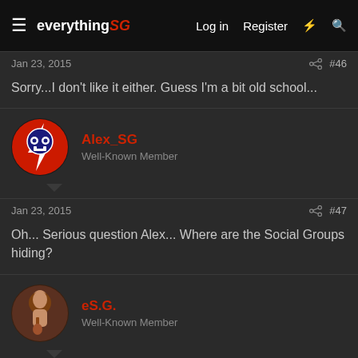everything SG | Log in | Register
Jan 23, 2015  #46
Sorry...I don't like it either. Guess I'm a bit old school...
Alex_SG
Well-Known Member
Jan 23, 2015  #47
Oh... Serious question Alex... Where are the Social Groups hiding?
eS.G.
Well-Known Member
Jan 23, 2015  #48
Well not to go against the grain----however similar changes ----